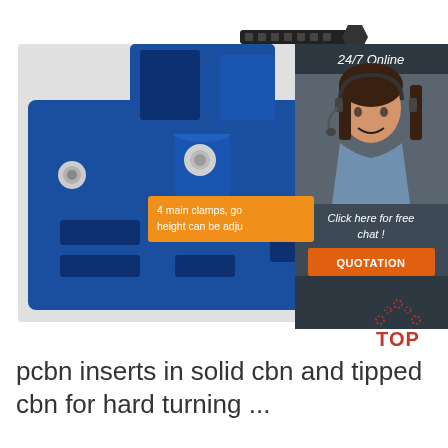[Figure (photo): Blue industrial drill press vise/clamp fixture with bolts on a metal base plate, shown against a light gray card background. A customer service representative (woman with headset) appears in a sidebar advertisement.]
4 main clamps, good height can be adju
24/7 Online
Click here for free chat !
QUOTATION
[Figure (logo): TOP icon with orange dotted triangle above red TOP text]
pcbn inserts in solid cbn and tipped cbn for hard turning ...